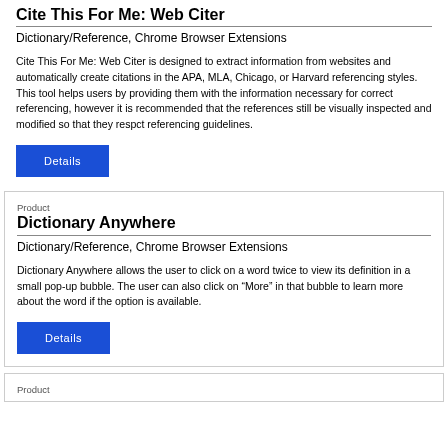Cite This For Me: Web Citer
Dictionary/Reference, Chrome Browser Extensions
Cite This For Me: Web Citer is designed to extract information from websites and automatically create citations in the APA, MLA, Chicago, or Harvard referencing styles. This tool helps users by providing them with the information necessary for correct referencing, however it is recommended that the references still be visually inspected and modified so that they respct referencing guidelines.
Details
Product
Dictionary Anywhere
Dictionary/Reference, Chrome Browser Extensions
Dictionary Anywhere allows the user to click on a word twice to view its definition in a small pop-up bubble. The user can also click on “More” in that bubble to learn more about the word if the option is available.
Details
Product